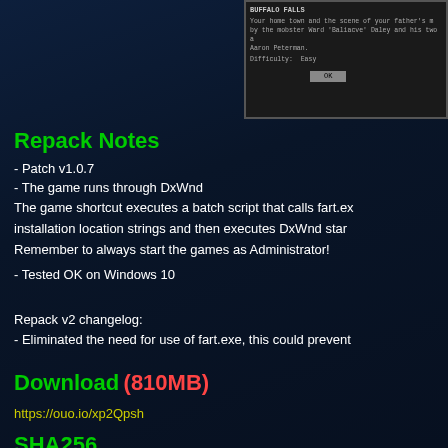[Figure (screenshot): Screenshot of a game dialog box with green monospace text showing game description and difficulty settings, with an OK button]
Repack Notes
- Patch v1.0.7
- The game runs through DxWnd
The game shortcut executes a batch script that calls fart.exe to update installation location strings and then executes DxWnd start. Remember to always start the games as Administrator!
- Tested OK on Windows 10
Repack v2 changelog:
- Eliminated the need for use of fart.exe, this could prevent
Download (810MB)
https://ouo.io/xp2Qpsh
SHA256
Gangsters_2_-_Vendetta_Repack_v2.rar - 75BF9BA9967EDD7F45D0F542BB6C8CAFA5D558F117A